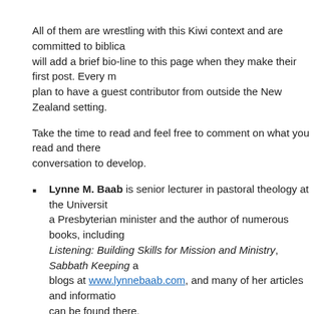All of them are wrestling with this Kiwi context and are committed to biblical... will add a brief bio-line to this page when they make their first post. Every m... plan to have a guest contributor from outside the New Zealand setting.
Take the time to read and feel free to comment on what you read and there... conversation to develop.
Lynne M. Baab is senior lecturer in pastoral theology at the Universit... a Presbyterian minister and the author of numerous books, including Listening: Building Skills for Mission and Ministry, Sabbath Keeping a... blogs at www.lynnebaab.com, and many of her articles and informatio... can be found there.
Viv Coleman is an experienced Presbyterian minister who has been ... as Discipleship Coach at an Auckland Baptist church for the last six y... passionate about preaching and has been writing sermons for over fo... has taught preaching skills to church members and mentored Carey B... interns. Viv is currently working on a Master's thesis looking at how m... performance reviews.
Sean du Toit, is a husband to Sue, a father to Ava, a New Testament... Alphacrucis, a PhD candidate at Otago, trying to be a faithful follower...
Dr Sarah Harris is the New Testament lectures at Carey Baptist Coll...